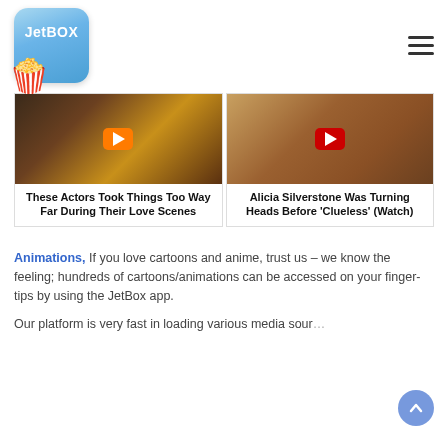[Figure (logo): JetBOX app logo with blue rounded square background and popcorn icon at bottom left, with hamburger menu icon on the right]
[Figure (screenshot): Two video thumbnails side by side with play buttons. Left: 'These Actors Took Things Too Way Far During Their Love Scenes' with orange play button. Right: 'Alicia Silverstone Was Turning Heads Before Clueless (Watch)' with red play button.]
Animations, If you love cartoons and anime, trust us – we know the feeling; hundreds of cartoons/animations can be accessed on your finger-tips by using the JetBox app.
Our platform is very fast in loading various media sour…